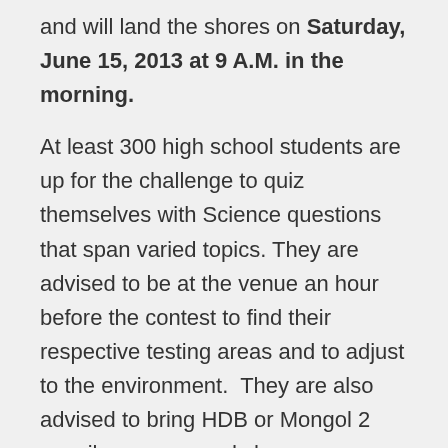and will land the shores on Saturday, June 15, 2013 at 9 A.M. in the morning.
At least 300 high school students are up for the challenge to quiz themselves with Science questions that span varied topics. They are advised to be at the venue an hour before the contest to find their respective testing areas and to adjust to the environment. They are also advised to bring HDB or Mongol 2 pencils, erasers and sharpeners. The exam is good for 90 minutes.
The testing center is indicated below. For further information, please contact this mobile phone number, 0905-274-5269